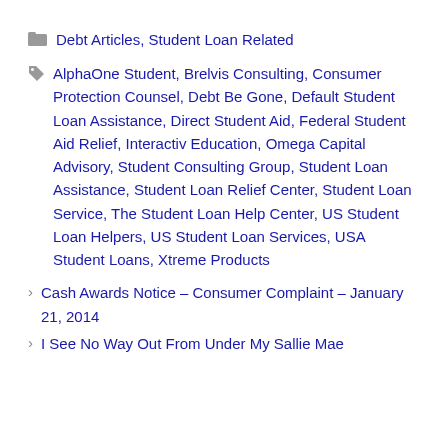Debt Articles, Student Loan Related
AlphaOne Student, Brelvis Consulting, Consumer Protection Counsel, Debt Be Gone, Default Student Loan Assistance, Direct Student Aid, Federal Student Aid Relief, Interactiv Education, Omega Capital Advisory, Student Consulting Group, Student Loan Assistance, Student Loan Relief Center, Student Loan Service, The Student Loan Help Center, US Student Loan Helpers, US Student Loan Services, USA Student Loans, Xtreme Products
Cash Awards Notice – Consumer Complaint – January 21, 2014
I See No Way Out From Under My Sallie Mae